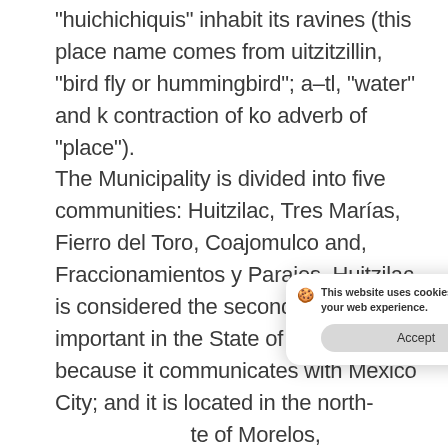“huichichiquis” inhabit its ravines (this place name comes from uitzitzillin, “bird fly or hummingbird”; a-tl, “water” and k contraction of ko adverb of “place”). The Municipality is divided into five communities: Huitzilac, Tres Marías, Fierro del Toro, Coajomulco and, Fraccionamientos y Parajes. Huitzilac, is considered the second most important in the State of Morelos because it communicates with Mexico City; and it is located in the north- [obscured] te of Morelos, g [obscured] allel 19 00’00 “and i. [obscured] e and between 99 10’20 “and 99 20’00” of west longitude of the meridian from Greenwich.
[Figure (other): Cookie consent banner overlay with icon, message 'This website uses cookies to improve your web experience.' and an 'Accept' button]